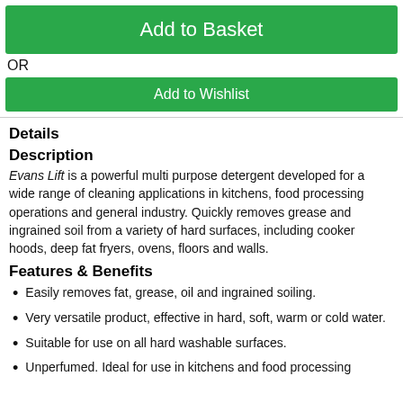Add to Basket
OR
Add to Wishlist
Details
Description
Evans Lift is a powerful multi purpose detergent developed for a wide range of cleaning applications in kitchens, food processing operations and general industry. Quickly removes grease and ingrained soil from a variety of hard surfaces, including cooker hoods, deep fat fryers, ovens, floors and walls.
Features & Benefits
Easily removes fat, grease, oil and ingrained soiling.
Very versatile product, effective in hard, soft, warm or cold water.
Suitable for use on all hard washable surfaces.
Unperfumed. Ideal for use in kitchens and food processing